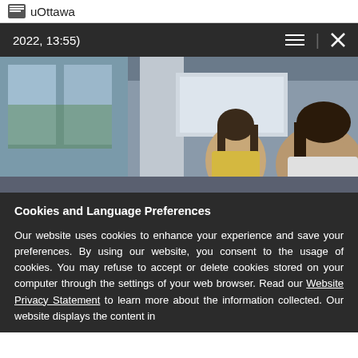uOttawa
2022, 13:55)
[Figure (photo): Two young women with dark hair in an office or classroom setting with large windows and whiteboards in the background. One wears a yellow top.]
Cookies and Language Preferences
Our website uses cookies to enhance your experience and save your preferences. By using our website, you consent to the usage of cookies. You may refuse to accept or delete cookies stored on your computer through the settings of your web browser. Read our Website Privacy Statement to learn more about the information collected. Our website displays the content in